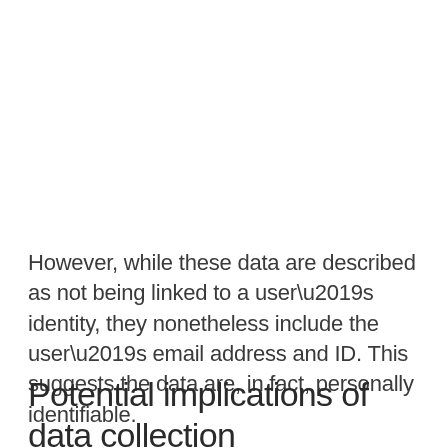However, while these data are described as not being linked to a user’s identity, they nonetheless include the user’s email address and ID. This suggests the data are, in fact, personally identifiable.
Potential implications of data collection